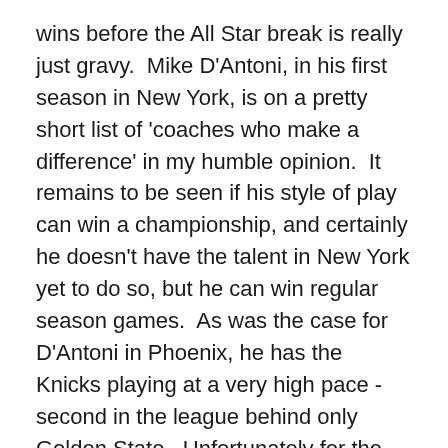wins before the All Star break is really just gravy.  Mike D'Antoni, in his first season in New York, is on a pretty short list of 'coaches who make a difference' in my humble opinion.  It remains to be seen if his style of play can win a championship, and certainly he doesn't have the talent in New York yet to do so, but he can win regular season games.  As was the case for D'Antoni in Phoenix, he has the Knicks playing at a very high pace - second in the league behind only Golden State.  Unfortunately for the Knicks, they're not nearly as effective at that pace as D'Antoni's Suns teams, ranking 16th in efficiency.  Defensively, they're 24th in the league.  Amazingly, the team has gotten much better results while either shipping out (Zach Randolph and Jamal Crawford) or simply mothballing (Stephon Marbury and Eddy Curry) well over $50M in salaries.  Of course that's more an indictment of the